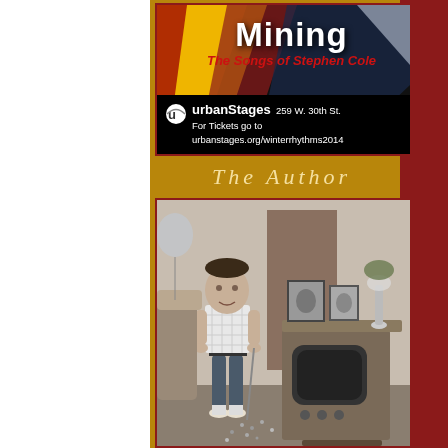[Figure (photo): Theater show poster for 'Mining: The Songs of Stephen Cole' with colorful diagonal flag stripes background, subtitle in red italic script, and venue information for Urban Stages at 259 W. 30th St. with website urbanstages.org/winterrhythms2014]
The Author
[Figure (photo): Vintage black-and-white photograph of a young boy standing in a living room next to a large console television set. Framed photographs and a lamp sit atop the TV cabinet. The boy is wearing a plaid shirt and dark pants. Items are scattered on the floor near his feet.]